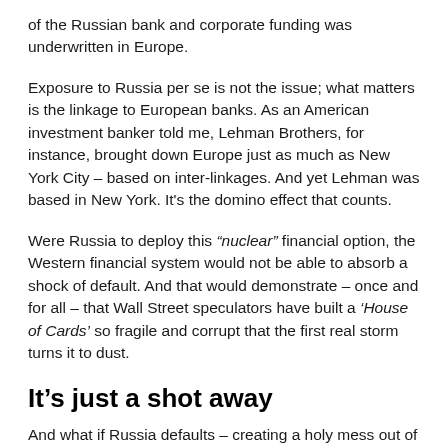of the Russian bank and corporate funding was underwritten in Europe.
Exposure to Russia per se is not the issue; what matters is the linkage to European banks. As an American investment banker told me, Lehman Brothers, for instance, brought down Europe just as much as New York City – based on inter-linkages. And yet Lehman was based in New York. It's the domino effect that counts.
Were Russia to deploy this “nuclear” financial option, the Western financial system would not be able to absorb a shock of default. And that would demonstrate – once and for all – that Wall Street speculators have built a ‘House of Cards’ so fragile and corrupt that the first real storm turns it to dust.
It’s just a shot away
And what if Russia defaults – creating a holy mess out of the